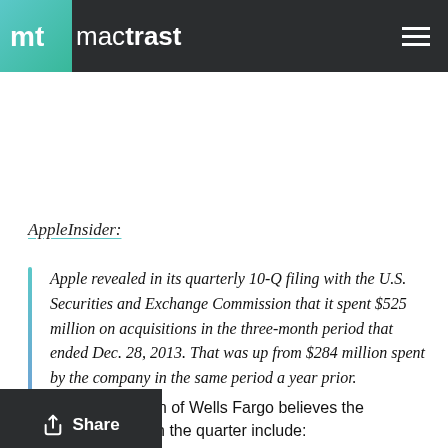mactrast
AppleInsider:
Apple revealed in its quarterly 10-Q filing with the U.S. Securities and Exchange Commission that it spent $525 million on acquisitions in the three-month period that ended Dec. 28, 2013. That was up from $284 million spent by the company in the same period a year prior.
analyst Maynard Um of Wells Fargo believes the acquisitions made in the quarter include: